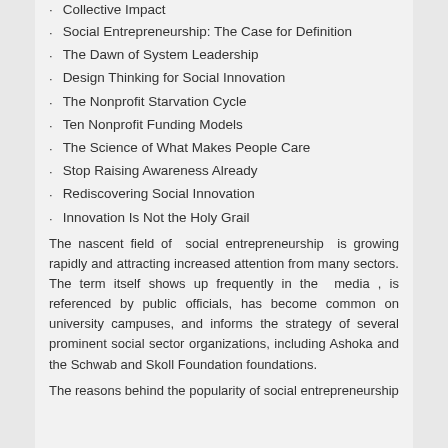Collective Impact
Social Entrepreneurship: The Case for Definition
The Dawn of System Leadership
Design Thinking for Social Innovation
The Nonprofit Starvation Cycle
Ten Nonprofit Funding Models
The Science of What Makes People Care
Stop Raising Awareness Already
Rediscovering Social Innovation
Innovation Is Not the Holy Grail
The nascent field of social entrepreneurship is growing rapidly and attracting increased attention from many sectors. The term itself shows up frequently in the media , is referenced by public officials, has become common on university campuses, and informs the strategy of several prominent social sector organizations, including Ashoka and the Schwab and Skoll Foundation foundations.
The reasons behind the popularity of social entrepreneurship